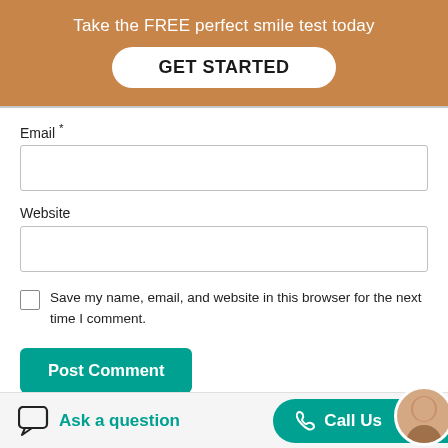Take the FREE perfect smile test today
GET STARTED
Email *
Website
Save my name, email, and website in this browser for the next time I comment.
Post Comment
Ask a question
Call Us